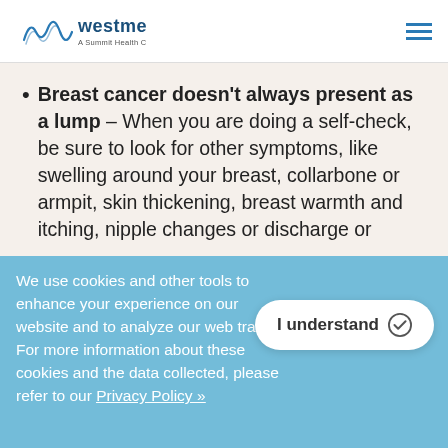westmed — A Summit Health Company
Breast cancer doesn't always present as a lump – When you are doing a self-check, be sure to look for other symptoms, like swelling around your breast, collarbone or armpit, skin thickening, breast warmth and itching, nipple changes or discharge or breast pain lasting more than three to four
Some genes are linked to breast cancer – Having a BRCA1 and BRCA 2 (breast cancer gene mutation) can increase your risk of breast and ovarian cancer. About 5 – 10% of breast cancers in the US are due to
We use cookies and other tools to enhance your experience on our website and to analyze our web traffic. For more information about these cookies and the data collected, please refer to our Privacy Policy »
I understand